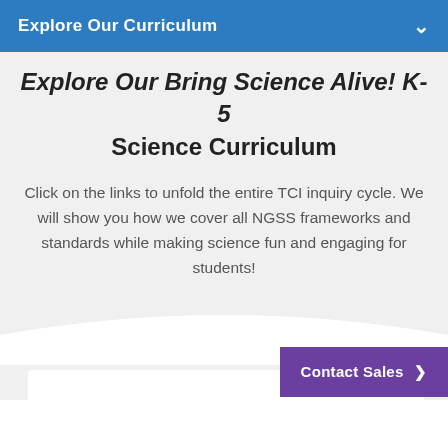Explore Our Curriculum
Explore Our Bring Science Alive! K-5 Science Curriculum
Click on the links to unfold the entire TCI inquiry cycle. We will show you how we cover all NGSS frameworks and standards while making science fun and engaging for students!
Contact Sales >